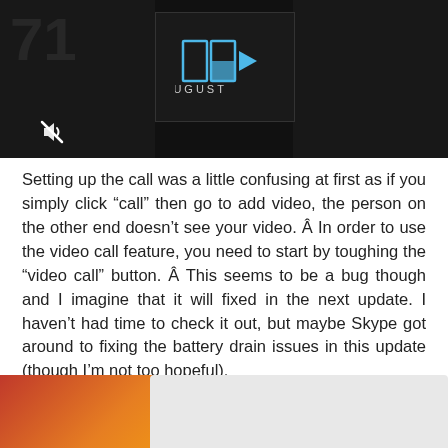[Figure (screenshot): Dark video player screenshot showing the August app logo with blue geometric arrow shapes and the word AUGUST below, with a mute icon in the bottom-left corner.]
Setting up the call was a little confusing at first as if you simply click “call” then go to add video, the person on the other end doesn’t see your video. Â In order to use the video call feature, you need to start by toughing the “video call” button. Â This seems to be a bug though and I imagine that it will fixed in the next update. I haven’t had time to check it out, but maybe Skype got around to fixing the battery drain issues in this update (though I’m not too hopeful).
[Figure (screenshot): Partial screenshot of an advertisement or image at the bottom of the page, showing a reddish-orange gradient image on the left and a white/grey panel overlay on the right with a close (X) button.]